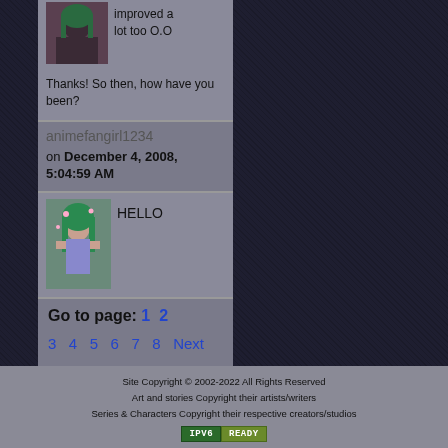improved a lot too O.O
Thanks! So then, how have you been?
animefangirl1234
on December 4, 2008, 5:04:59 AM
HELLO
Go to page: 1 2 3 4 5 6 7 8 Next > All
Site Copyright © 2002-2022 All Rights Reserved
Art and stories Copyright their artists/writers
Series & Characters Copyright their respective creators/studios